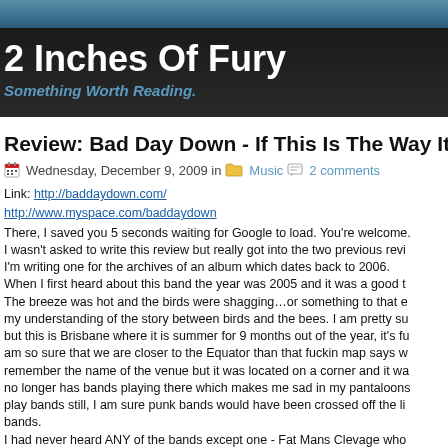2 Inches Of Fury — Something Worth Reading.
Review: Bad Day Down - If This Is The Way It Has To B
Wednesday, December 9, 2009 in Music 2 comments
Link: http://baddaydown.com/ http://www.myspace.com/baddaydown
There, I saved you 5 seconds waiting for Google to load. You're welcome. I wasn't asked to write this review but really got into the two previous revi I'm writing one for the archives of an album which dates back to 2006.
When I first heard about this band the year was 2005 and it was a good t The breeze was hot and the birds were shagging…or something to that e my understanding of the story between birds and the bees. I am pretty su but this is Brisbane where it is summer for 9 months out of the year, it's fu am so sure that we are closer to the Equator than that fuckin map says w remember the name of the venue but it was located on a corner and it wa no longer has bands playing there which makes me sad in my pantaloons play bands still, I am sure punk bands would have been crossed off the li bands.
I had never heard ANY of the bands except one - Fat Mans Clevage who that night and Josh (who runs the QPunx site) said to me the band who a